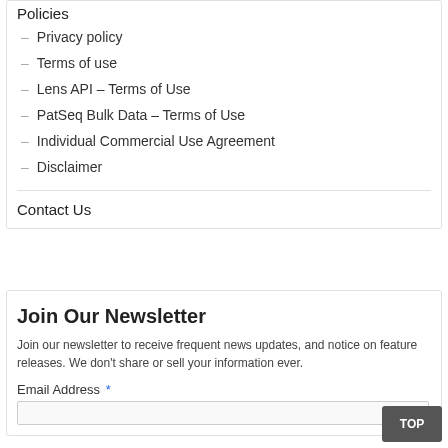Policies
Privacy policy
Terms of use
Lens API – Terms of Use
PatSeq Bulk Data – Terms of Use
Individual Commercial Use Agreement
Disclaimer
Contact Us
Join Our Newsletter
Join our newsletter to receive frequent news updates, and notice on feature releases. We don't share or sell your information ever.
Email Address *